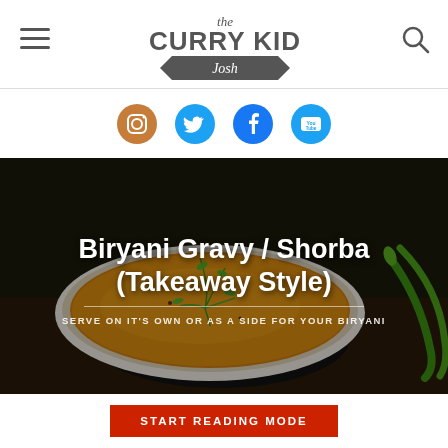the CURRY KID Josh
[Figure (logo): The Curry Kid Josh logo with hamburger menu icon on left and search icon on right]
[Figure (infographic): Social media icons row: Instagram (brown), Twitter (blue), Facebook (blue), YouTube (blue)]
[Figure (photo): Hero image of a bowl of Biryani Gravy/Shorba curry dish with green herbs and chilis, dark background]
Biryani Gravy / Shorba (Takeaway Style)
SERVE ON IT'S OWN OR AS A SIDE FOR YOUR BIRYANI
START READING MODE